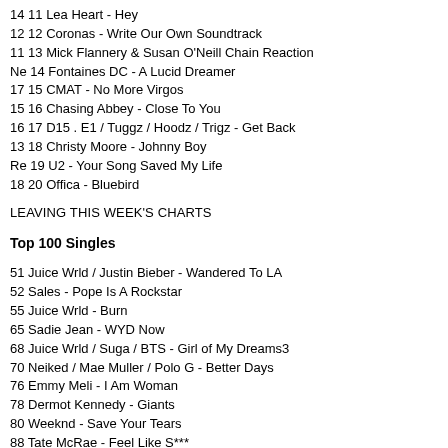14 11 Lea Heart - Hey
12 12 Coronas - Write Our Own Soundtrack
11 13 Mick Flannery & Susan O'Neill Chain Reaction
Ne 14 Fontaines DC - A Lucid Dreamer
17 15 CMAT - No More Virgos
15 16 Chasing Abbey - Close To You
16 17 D15 . E1 / Tuggz / Hoodz / Trigz - Get Back
13 18 Christy Moore - Johnny Boy
Re 19 U2 - Your Song Saved My Life
18 20 Offica - Bluebird
LEAVING THIS WEEK'S CHARTS
Top 100 Singles
51 Juice Wrld / Justin Bieber - Wandered To LA
52 Sales - Pope Is A Rockstar
55 Juice Wrld - Burn
65 Sadie Jean - WYD Now
68 Juice Wrld / Suga / BTS - Girl of My Dreams3
70 Neiked / Mae Muller / Polo G - Better Days
76 Emmy Meli - I Am Woman
78 Dermot Kennedy - Giants
80 Weeknd - Save Your Tears
88 Tate McRae - Feel Like S***
90 Becky Hill & David Guetta - Remember
93 Vundabar - Alien Blues
94 Dua Lipa - Levitating
95 Amaarae ft Moliy - Sad Girlz Luv Money
97 Arz - Alone With You